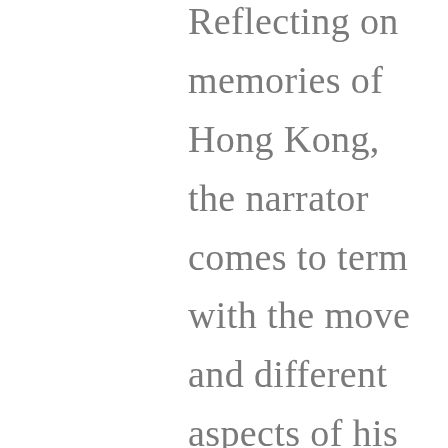Reflecting on memories of Hong Kong, the narrator comes to term with the move and different aspects of his culture such as picking out live fish at the market for dinner.  Poem topics include holidays, like N...